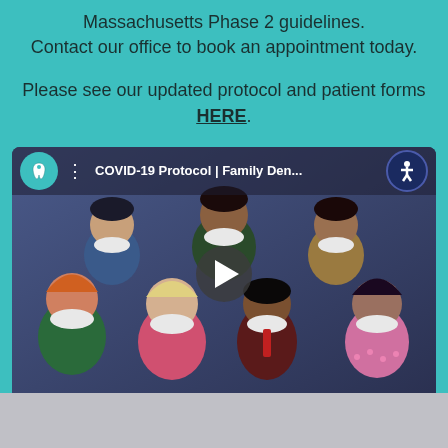Massachusetts Phase 2 guidelines.
Contact our office to book an appointment today.
Please see our updated protocol and patient forms HERE.
[Figure (screenshot): YouTube video thumbnail showing animated/illustrated diverse group of people wearing COVID-19 face masks. Video title reads 'COVID-19 Protocol | Family Den...' with YouTube channel icon and accessibility button visible in the top bar. A play button is centered on the thumbnail.]